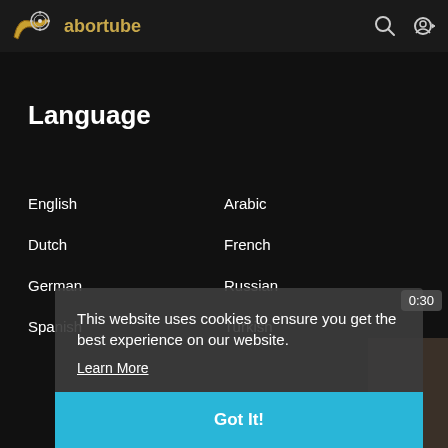abortube
Language
English
Arabic
Dutch
French
German
Russian
Spanish
Turkish
This website uses cookies to ensure you get the best experience on our website.
Learn More
Got It!